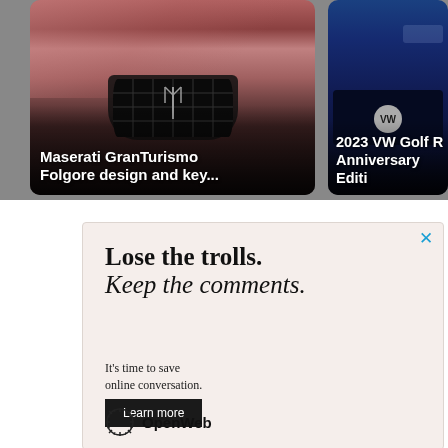[Figure (photo): Maserati GranTurismo Folgore car photo from front angle, pink/rose color, showing grille with trident emblem]
Maserati GranTurismo Folgore design and key...
[Figure (photo): 2023 VW Golf R Anniversary Edition car photo, dark blue color, front grille view]
2023 VW Golf R Anniversary Editi...
[Figure (illustration): OpenWeb advertisement with text: Lose the trolls. Keep the comments. It's time to save online conversation. Learn more button. OpenWeb logo.]